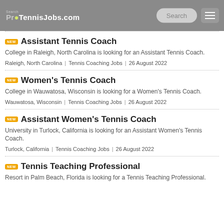ProTennisJobs.com
Assistant Tennis Coach — College in Raleigh, North Carolina is looking for an Assistant Tennis Coach. | Raleigh, North Carolina | Tennis Coaching Jobs | 26 August 2022
Women's Tennis Coach — College in Wauwatosa, Wisconsin is looking for a Women's Tennis Coach. | Wauwatosa, Wisconsin | Tennis Coaching Jobs | 26 August 2022
Assistant Women's Tennis Coach — University in Turlock, California is looking for an Assistant Women's Tennis Coach. | Turlock, California | Tennis Coaching Jobs | 26 August 2022
Tennis Teaching Professional — Resort in Palm Beach, Florida is looking for a Tennis Teaching Professional.